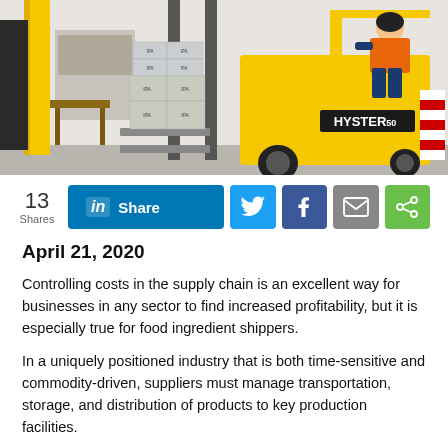[Figure (photo): A yellow Hyster 50 forklift carrying stacked boxes of product in a warehouse, operated by a worker wearing a safety vest and jeans.]
13 Shares
in Share
April 21, 2020
Controlling costs in the supply chain is an excellent way for businesses in any sector to find increased profitability, but it is especially true for food ingredient shippers.
In a uniquely positioned industry that is both time-sensitive and commodity-driven, suppliers must manage transportation, storage, and distribution of products to key production facilities.
An effective supply chain strategy that controls costs is crucial because margins for ingredient manufacturers are typically thin.